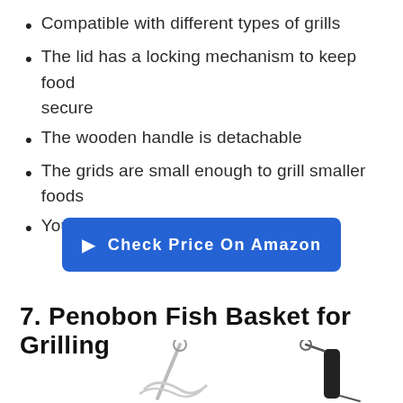Compatible with different types of grills
The lid has a locking mechanism to keep food secure
The wooden handle is detachable
The grids are small enough to grill smaller foods
You can put it into the dishwasher
[Figure (other): Blue button with cursor icon reading 'Check Price On Amazon']
7. Penobon Fish Basket for Grilling
[Figure (photo): Photo of Penobon fish basket grilling product, showing stainless steel and black handle versions]